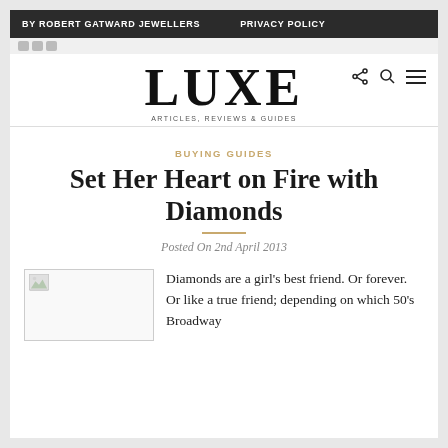BY ROBERT GATWARD JEWELLERS    PRIVACY POLICY
[Figure (logo): LUXE — ARTICLES, REVIEWS & GUIDES logo with share, search, and menu icons]
BUYING GUIDES
Set Her Heart on Fire with Diamonds
Posted On 2nd April 2013
[Figure (photo): Broken/missing image placeholder]
Diamonds are a girl's best friend. Or forever. Or like a true friend; depending on which 50's Broadway